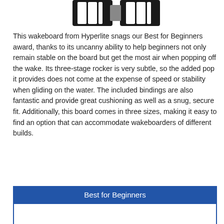[Figure (photo): Partial view of a Hyperlite wakeboard with bindings, shown at the top of the page (cropped)]
This wakeboard from Hyperlite snags our Best for Beginners award, thanks to its uncanny ability to help beginners not only remain stable on the board but get the most air when popping off the wake. Its three-stage rocker is very subtle, so the added pop it provides does not come at the expense of speed or stability when gliding on the water. The included bindings are also fantastic and provide great cushioning as well as a snug, secure fit. Additionally, this board comes in three sizes, making it easy to find an option that can accommodate wakeboarders of different builds.
| Best for Beginners |
| --- |